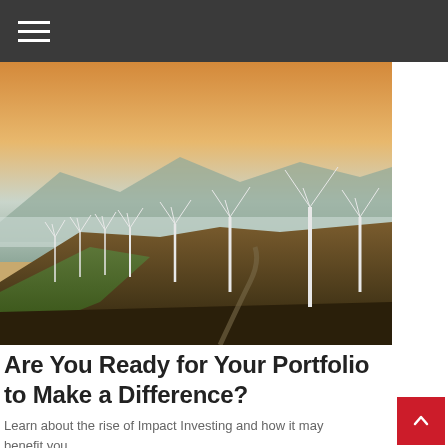[Figure (photo): Aerial photograph of a wind farm with multiple white wind turbines on hilly terrain at sunset or golden hour, with mountains and low clouds visible in the background.]
Are You Ready for Your Portfolio to Make a Difference?
Learn about the rise of Impact Investing and how it may benefit you.